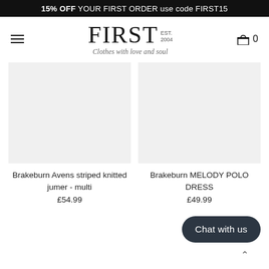15% OFF YOUR FIRST ORDER use code FIRST15
[Figure (logo): FIRST EST. 2004 logo with tagline 'Clothes with love and soul']
Brakeburn Avens striped knitted jumer - multi
£54.99
Brakeburn MELODY POLO DRESS
£49.99
Chat with us